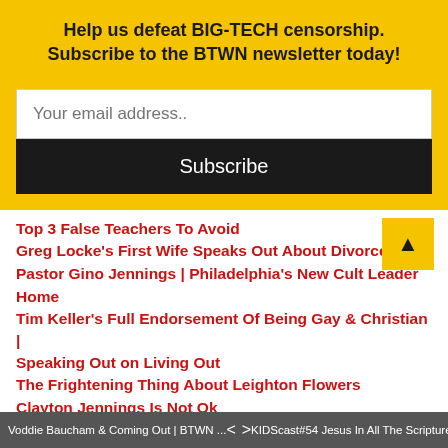Help us defeat BIG-TECH censorship. Subscribe to the BTWN newsletter today!
Your email address..
Subscribe
Top 3 False Teachers To Avoid
Greg Locke's First Wife Speaks Out About Divorce
Pastor Gino Jennings | Philadelphia's New Cult Leader
Home
Tim Keller's Full Endorsement Of Being Gay & Christian | Speaking Out on Living Out
The Frightening Thing About Leighton Flowers
Clayton Jennings Is Not Ok
5 Sins Beth Moore Is Guilty Of.
Pastor Gino Jennings Dodges And Ducks Debate Challenge
Voddie Baucham & Coming Out | BTWN ...    < >    KIDScast#54 Jesus In All The Scriptures